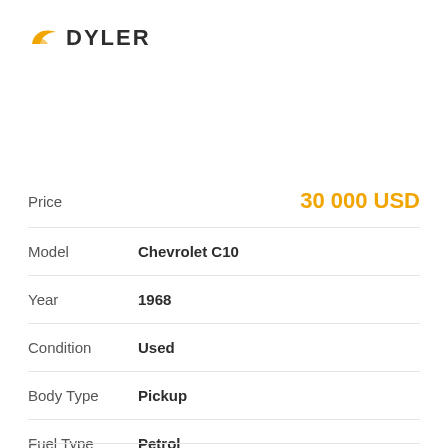[Figure (logo): Dyler brand logo with golden wing icon and dark bold text DYLER]
| Field | Value |
| --- | --- |
| Price | 30 000 USD |
| Model | Chevrolet C10 |
| Year | 1968 |
| Condition | Used |
| Body Type | Pickup |
| Fuel Type | Petrol |
| Power | n/a |